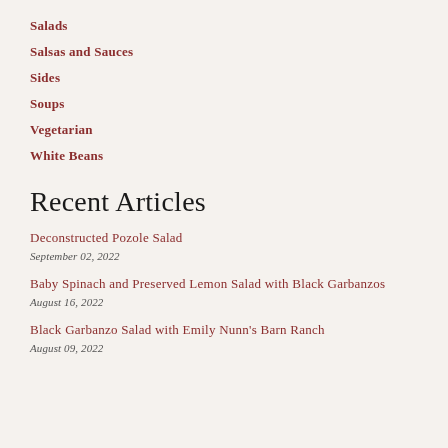Salads
Salsas and Sauces
Sides
Soups
Vegetarian
White Beans
Recent Articles
Deconstructed Pozole Salad
September 02, 2022
Baby Spinach and Preserved Lemon Salad with Black Garbanzos
August 16, 2022
Black Garbanzo Salad with Emily Nunn's Barn Ranch
August 09, 2022